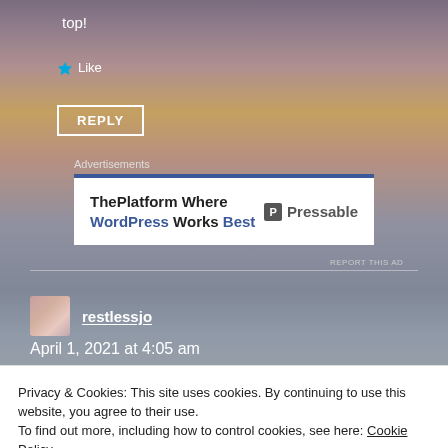top!
Like
REPLY
Advertisements
[Figure (other): Pressable advertisement banner: 'ThePlatform Where WordPress Works Best' with Pressable logo]
REPORT THIS AD
restlessjo
April 1, 2021 at 4:05 am
Privacy & Cookies: This site uses cookies. By continuing to use this website, you agree to their use.
To find out more, including how to control cookies, see here: Cookie Policy
Close and accept